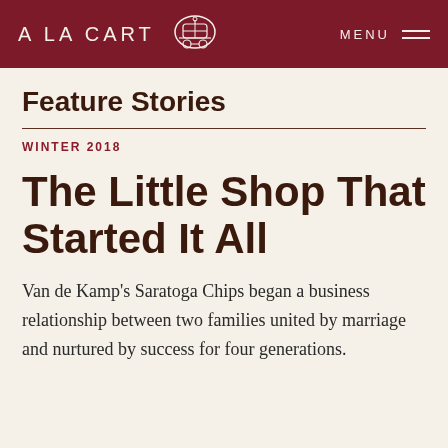A LA CART  MENU
Feature Stories
WINTER 2018
The Little Shop That Started It All
Van de Kamp's Saratoga Chips began a business relationship between two families united by marriage and nurtured by success for four generations.